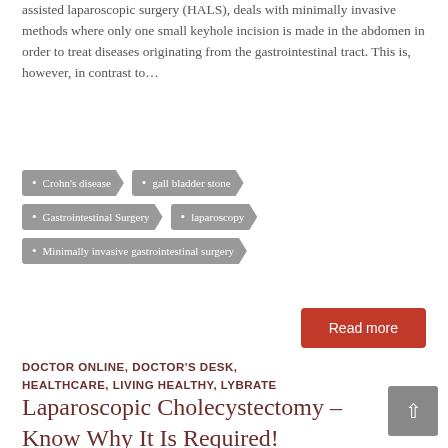assisted laparoscopic surgery (HALS), deals with minimally invasive methods where only one small keyhole incision is made in the abdomen in order to treat diseases originating from the gastrointestinal tract. This is, however, in contrast to…
Crohn's disease
gall bladder stone
Gastrointestinal Surgery
laparoscopy
Minimally invasive gastrointestinal surgery
Read more
DOCTOR ONLINE, DOCTOR'S DESK, HEALTHCARE, LIVING HEALTHY, LYBRATE
Laparoscopic Cholecystectomy – Know Why It Is Required!